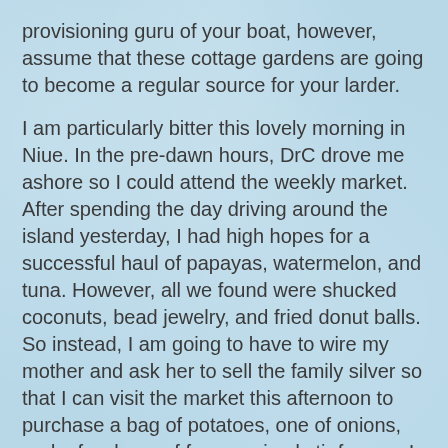provisioning guru of your boat, however, assume that these cottage gardens are going to become a regular source for your larder.
I am particularly bitter this lovely morning in Niue. In the pre-dawn hours, DrC drove me ashore so I could attend the weekly market. After spending the day driving around the island yesterday, I had high hopes for a successful haul of papayas, watermelon, and tuna. However, all we found were shucked coconuts, bead jewelry, and fried donut balls. So instead, I am going to have to wire my mother and ask her to sell the family silver so that I can visit the market this afternoon to purchase a bag of potatoes, one of onions, and a few bags of frozen mixed stir fry veg. I do not regret a single can of tomatoes, peaches or pears we loaded in Mexico. I applaud my foresight in simply sinking the boat with pimentos, mushrooms, sundried tomatoes, and fresh frozen basil. Were I to do it again, the only thing I would change is to load more peanut butter, maple syrup, and probably about a thousand pounds of dried fruit.
Alternatively, we need to convert Don Quixote into a cottage